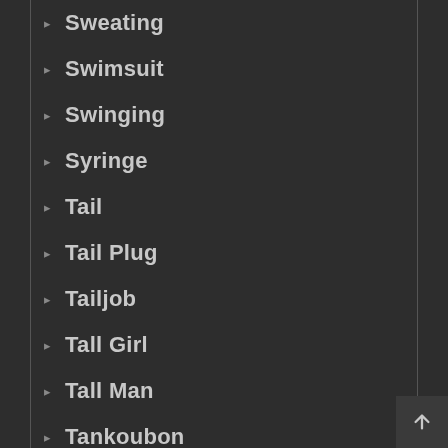Sweating
Swimsuit
Swinging
Syringe
Tail
Tail Plug
Tailjob
Tall Girl
Tall Man
Tankoubon
Tanlines
Teacher
Tentacles